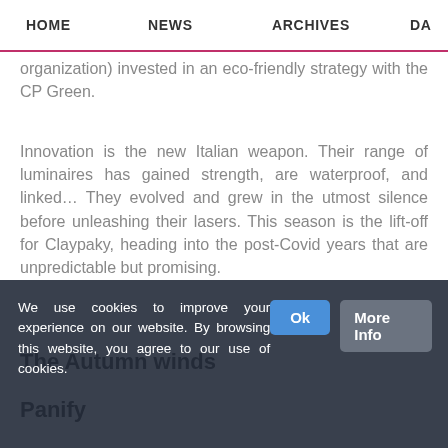HOME   NEWS   ARCHIVES   DA
organization) invested in an eco-friendly strategy with the CP Green.
Innovation is the new Italian weapon. Their range of luminaires has gained strength, are waterproof, and linked… They evolved and grew in the utmost silence before unleashing their lasers. This season is the lift-off for Claypaky, heading into the post-Covid years that are unpredictable but promising.
The Autumn winds
Panify
We use cookies to improve your experience on our website. By browsing this website, you agree to our use of cookies.